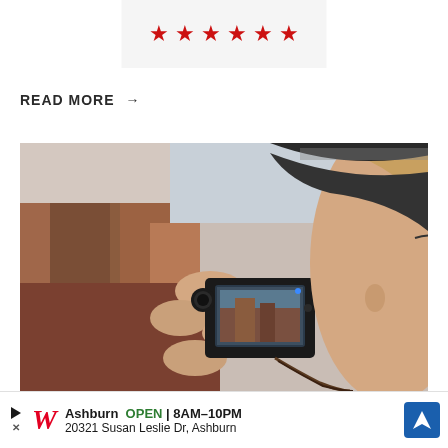[Figure (illustration): Six red five-pointed stars in a row on a light gray background, serving as a rating display]
READ MORE →
[Figure (photo): A woman wearing a wide-brimmed black hat holds up a smartphone/camera to photograph a red rock canyon landscape. She is viewed from behind/side. The canyon walls are brown-red and blurred in the background.]
[Figure (other): Walgreens advertisement banner: Ashburn OPEN 8AM–10PM, 20321 Susan Leslie Dr, Ashburn, with Walgreens W logo and navigation arrow icon]